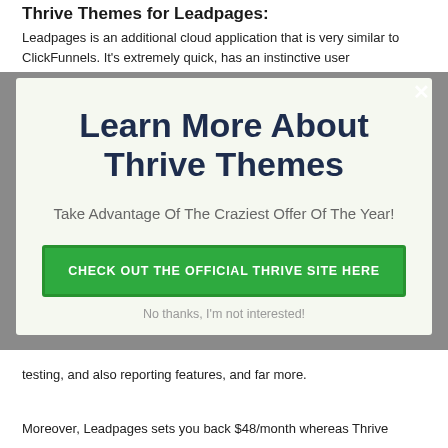Thrive Themes for Leadpages:
Leadpages is an additional cloud application that is very similar to ClickFunnels. It's extremely quick, has an instinctive user
[Figure (screenshot): Modal popup overlay with title 'Learn More About Thrive Themes', subtitle 'Take Advantage Of The Craziest Offer Of The Year!', a green CTA button 'CHECK OUT THE OFFICIAL THRIVE SITE HERE', and a dismiss link 'No thanks, I'm not interested!']
testing, and also reporting features, and far more.
Moreover, Leadpages sets you back $48/month whereas Thrive